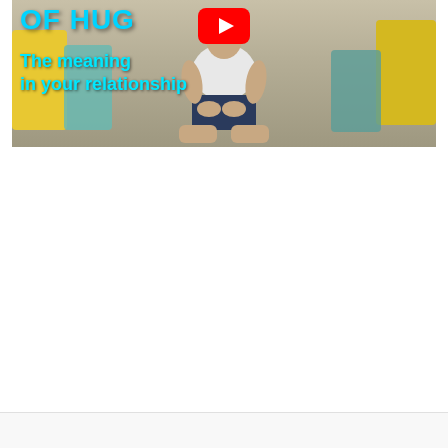[Figure (screenshot): YouTube video thumbnail showing a man sitting cross-legged on a beige sofa with yellow and teal decorative pillows. Text overlay reads 'OF HUG' at top left and 'The meaning in your relationship' in cyan/blue text. A YouTube play button is visible in the upper center area.]